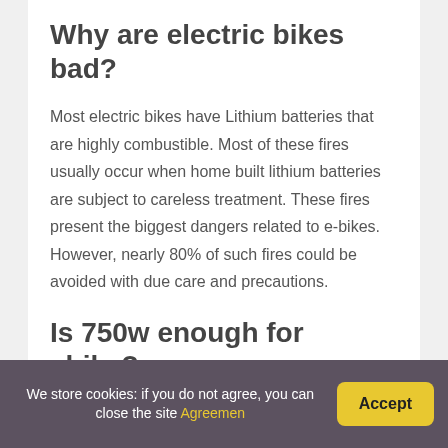Why are electric bikes bad?
Most electric bikes have Lithium batteries that are highly combustible. Most of these fires usually occur when home built lithium batteries are subject to careless treatment. These fires present the biggest dangers related to e-bikes. However, nearly 80% of such fires could be avoided with due care and precautions.
Is 750w enough for ebike?
Electric bicycles (ebikes) are legally limited to using
We store cookies: if you do not agree, you can close the site Agreement